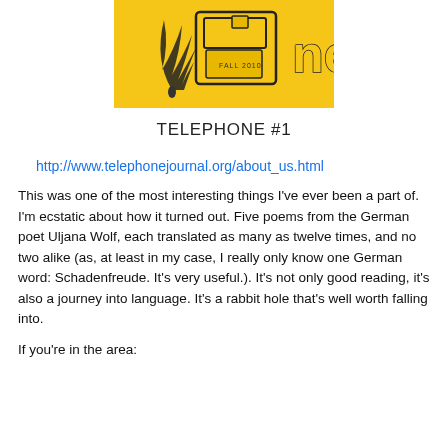[Figure (illustration): Cover of Telephone journal issue #1, Fall 2010. Yellow background with black line drawing of a rotary telephone and decorative feather/plant motif. Partial text visible: 'ne' and 'FALL 2010'.]
TELEPHONE #1
http://www.telephonejournal.org/about_us.html
This was one of the most interesting things I’ve ever been a part of. I’m ecstatic about how it turned out. Five poems from the German poet Uljana Wolf, each translated as many as twelve times, and no two alike (as, at least in my case, I really only know one German word: Schadenfreude. It's very useful.). It's not only good reading, it’s also a journey into language. It’s a rabbit hole that’s well worth falling into.
If you're in the area: